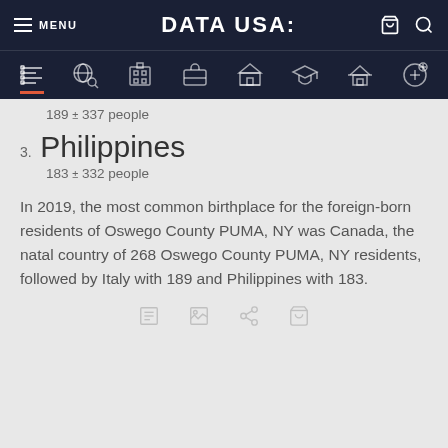MENU | DATA USA: | [cart] [search]
189 ± 337 people
3. Philippines
183 ± 332 people
In 2019, the most common birthplace for the foreign-born residents of Oswego County PUMA, NY was Canada, the natal country of 268 Oswego County PUMA, NY residents, followed by Italy with 189 and Philippines with 183.